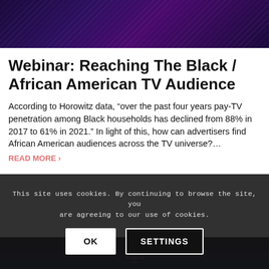[Figure (photo): Top banner image with dark purple/indigo background and diagonal light streaks, partially showing figures]
Webinar: Reaching The Black / African American TV Audience
According to Horowitz data, “over the past four years pay-TV penetration among Black households has declined from 88% in 2017 to 61% in 2021.” In light of this, how can advertisers find African American audiences across the TV universe?…
READ MORE ›
This site uses cookies. By continuing to browse the site, you are agreeing to our use of cookies.
[Figure (photo): Bottom dark section with a small logo/icon graphic centered]